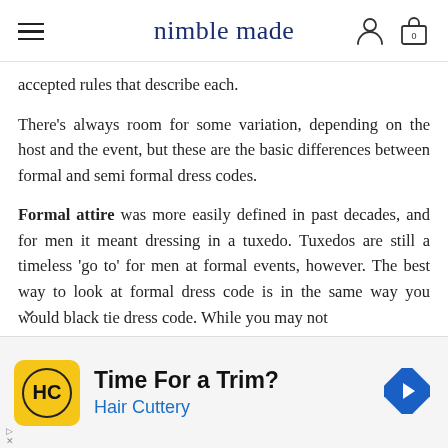nimble made
accepted rules that describe each.
There's always room for some variation, depending on the host and the event, but these are the basic differences between formal and semi formal dress codes.
Formal attire was more easily defined in past decades, and for men it meant dressing in a tuxedo. Tuxedos are still a timeless 'go to' for men at formal events, however. The best way to look at formal dress code is in the same way you would black tie dress code. While you may not
[Figure (infographic): Advertisement banner for Hair Cuttery with yellow logo, 'Time For a Trim?' headline, 'Hair Cuttery' subtext in blue, and a blue diamond navigation arrow icon.]